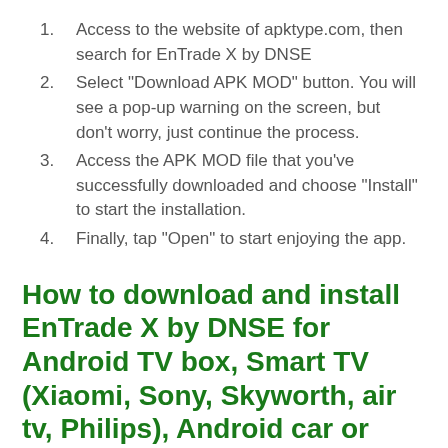Access to the website of apktype.com, then search for EnTrade X by DNSE
Select "Download APK MOD" button. You will see a pop-up warning on the screen, but don't worry, just continue the process.
Access the APK MOD file that you've successfully downloaded and choose "Install" to start the installation.
Finally, tap "Open" to start enjoying the app.
How to download and install EnTrade X by DNSE for Android TV box, Smart TV (Xiaomi, Sony, Skyworth, air tv, Philips), Android car or Android wear